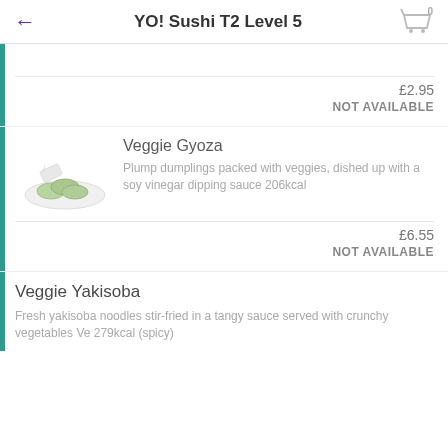YO! Sushi T2 Level 5
£2.95
NOT AVAILABLE
Veggie Gyoza
Plump dumplings packed with veggies, dished up with a soy vinegar dipping sauce 206kcal
£6.55
NOT AVAILABLE
Veggie Yakisoba
Fresh yakisoba noodles stir-fried in a tangy sauce served with crunchy vegetables Ve 279kcal (spicy)